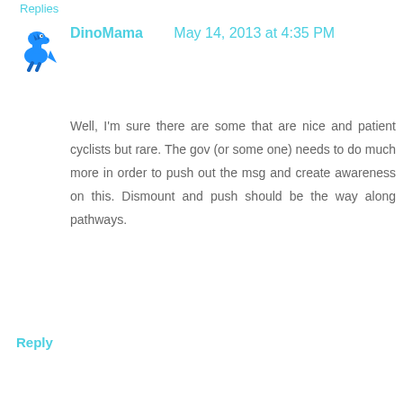Replies
[Figure (illustration): Blue cartoon dinosaur avatar icon]
DinoMama    May 14, 2013 at 4:35 PM
Well, I'm sure there are some that are nice and patient cyclists but rare. The gov (or some one) needs to do much more in order to push out the msg and create awareness on this. Dismount and push should be the way along pathways.
Reply